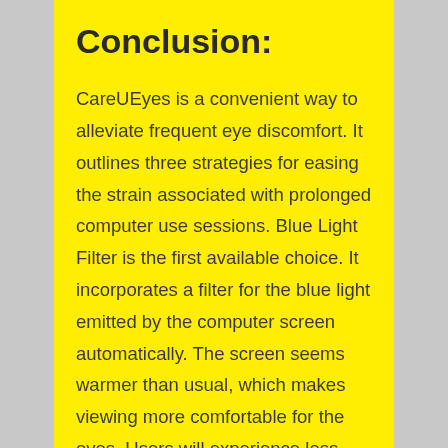Conclusion:
CareUEyes is a convenient way to alleviate frequent eye discomfort. It outlines three strategies for easing the strain associated with prolonged computer use sessions. Blue Light Filter is the first available choice. It incorporates a filter for the blue light emitted by the computer screen automatically. The screen seems warmer than usual, which makes viewing more comfortable for the eyes. Users will experience less fatigue while they work and play for extended periods. The Blue Light Filter comes with numerous settings. Here